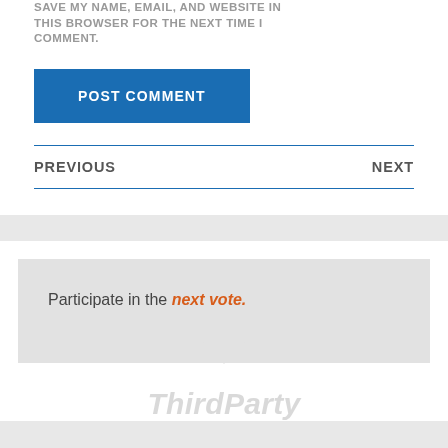SAVE MY NAME, EMAIL, AND WEBSITE IN THIS BROWSER FOR THE NEXT TIME I COMMENT.
POST COMMENT
PREVIOUS
NEXT
Participate in the next vote.